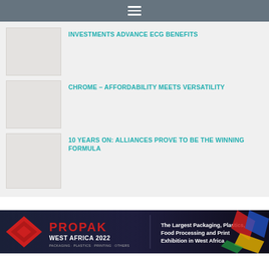Navigation menu
INVESTMENTS ADVANCE ECG BENEFITS
CHROME – AFFORDABILITY MEETS VERSATILITY
10 YEARS ON: ALLIANCES PROVE TO BE THE WINNING FORMULA
[Figure (infographic): PROPAK WEST AFRICA 2022 banner advertisement — The Largest Packaging, Plastics, Food Processing and Print Exhibition in West Africa]